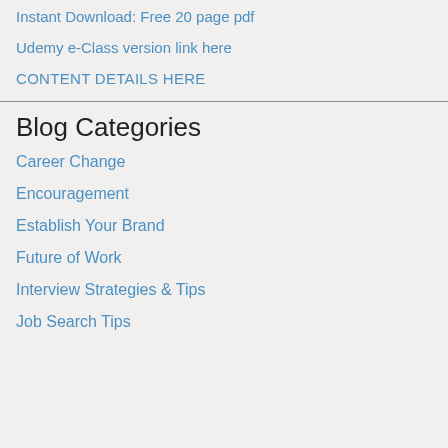Instant Download: Free 20 page pdf
Udemy e-Class version link here
CONTENT DETAILS HERE
Blog Categories
Career Change
Encouragement
Establish Your Brand
Future of Work
Interview Strategies & Tips
Job Search Tips